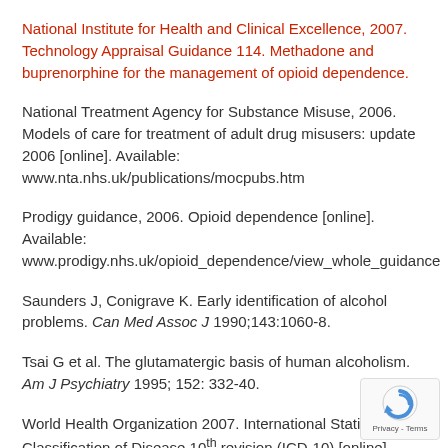National Institute for Health and Clinical Excellence, 2007. Technology Appraisal Guidance 114. Methadone and buprenorphine for the management of opioid dependence.
National Treatment Agency for Substance Misuse, 2006. Models of care for treatment of adult drug misusers: update 2006 [online]. Available: www.nta.nhs.uk/publications/mocpubs.htm
Prodigy guidance, 2006. Opioid dependence [online]. Available: www.prodigy.nhs.uk/opioid_dependence/view_whole_guidance
Saunders J, Conigrave K. Early identification of alcohol problems. Can Med Assoc J 1990;143:1060-8.
Tsai G et al. The glutamatergic basis of human alcoholism. Am J Psychiatry 1995; 152: 332-40.
World Health Organization 2007. International Statistical Classification of Disease 10th revision (ICD-10) [online]. Available: